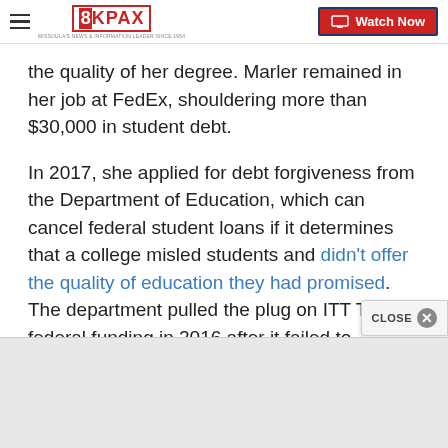8KPAX | Watch Now
the quality of her degree. Marler remained in her job at FedEx, shouldering more than $30,000 in student debt.
In 2017, she applied for debt forgiveness from the Department of Education, which can cancel federal student loans if it determines that a college misled students and didn't offer the quality of education they had promised. The department pulled the plug on ITT Tech's federal funding in 2016 after it failed to address its accreditor's concerns.
But nearly two years later, Marler is still waiting to